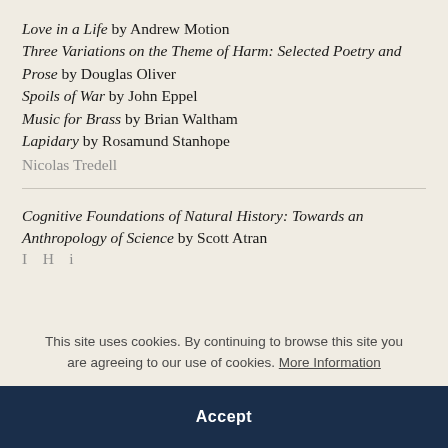Love in a Life by Andrew Motion
Three Variations on the Theme of Harm: Selected Poetry and Prose by Douglas Oliver
Spoils of War by John Eppel
Music for Brass by Brian Waltham
Lapidary by Rosamund Stanhope
Nicolas Tredell
Cognitive Foundations of Natural History: Towards an Anthropology of Science by Scott Atran
This site uses cookies. By continuing to browse this site you are agreeing to our use of cookies. More Information
Accept